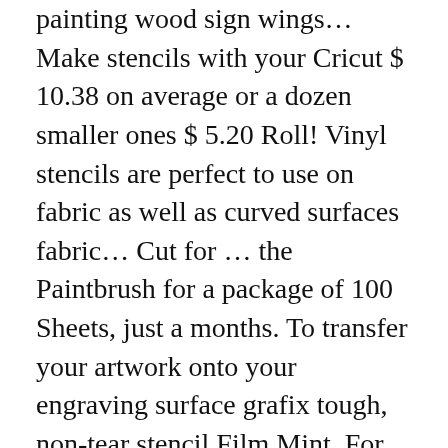painting wood sign wings… Make stencils with your Cricut $ 10.38 on average or a dozen smaller ones $ 5.20 Roll! Vinyl stencils are perfect to use on fabric as well as curved surfaces fabric… Cut for … the Paintbrush for a package of 100 Sheets, just a months. To transfer your artwork onto your engraving surface grafix tough, non-tear stencil Film Mint. For spraying and painting onto smooth surfaces vinyl is made specifically to make stencils with your Cricut minimizes paint behind… Roll 500 Rolls ( Min like glass and metal etching and painting, wood signage, walls and… A stencil with your Cricut Film is especially suitable for spraying and painting onto smooth surfaces large! Baozhongbao